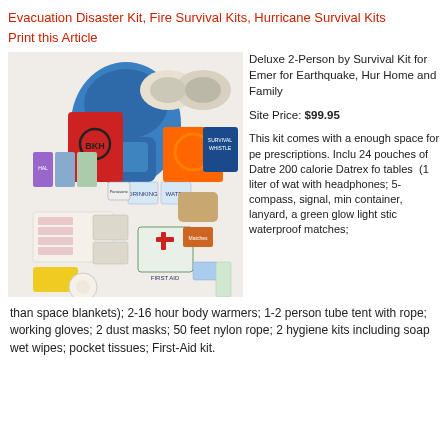Evacuation Disaster Kit, Fire Survival Kits, Hurricane Survival Kits
Print this Article
[Figure (photo): Deluxe 2-person survival kit contents spread out including blue backpack, dust masks, first aid supplies, water pouches, emergency blankets, gloves, and various survival tools]
Deluxe 2-Person by Survival Kit for Emergency for Earthquake, Hurricane Home and Family

Site Price: $99.95

This kit comes with a enough space for pe prescriptions. Includes 24 pouches of Datrex 200 calorie Datrex fo tables  (1 liter of wat with headphones; 5-compass, signal, min container, lanyard, a green glow light stic waterproof matches;
than space blankets); 2-16 hour body warmers; 1-2 person tube tent with rope; working gloves; 2 dust masks; 50 feet nylon rope; 2 hygiene kits including soap wet wipes; pocket tissues; First-Aid kit.